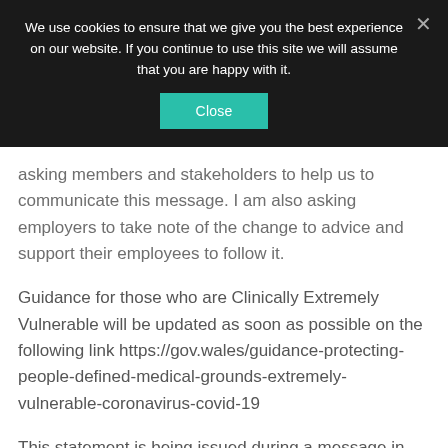[Figure (screenshot): Cookie consent banner overlay with dark background, text asking user about cookies, a teal Close button, and an X dismiss button in the top right corner.]
asking members and stakeholders to help us to communicate this message. I am also asking employers to take note of the change to advice and support their employees to follow it.
Guidance for those who are Clinically Extremely Vulnerable will be updated as soon as possible on the following link https://gov.wales/guidance-protecting-people-defined-medical-grounds-extremely-vulnerable-coronavirus-covid-19
This statement is being issued during a message in